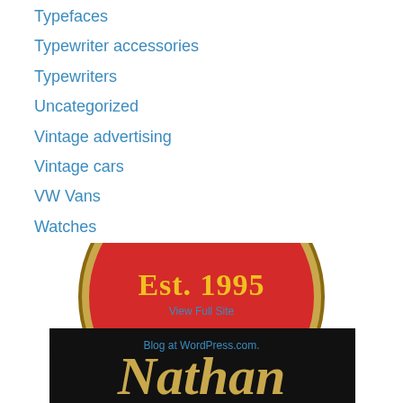Typefaces
Typewriter accessories
Typewriters
Uncategorized
Vintage advertising
Vintage cars
VW Vans
Watches
Wildlife
Winter
Writing
Zen
[Figure (logo): Nathan logo: circular badge with gold border, red background showing 'Est. 1995' in gold/yellow, black lower half with 'Nathan' in gold cursive script. Overlaid text: 'View Full Site' and 'Blog at WordPress.com.']